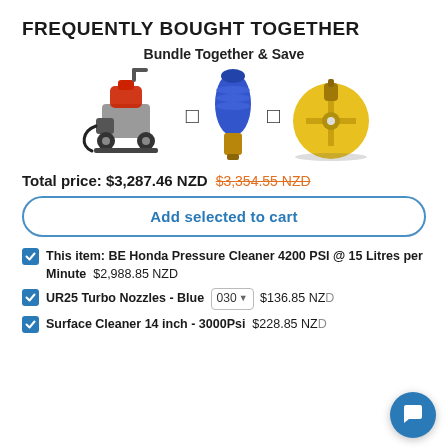FREQUENTLY BOUGHT TOGETHER
Bundle Together & Save
[Figure (photo): Three product images in a row: (1) BE Honda Pressure Cleaner - a grey pressure washer machine with wheels, (2) UR25 Turbo Nozzle - Blue, a blue twist nozzle, (3) Surface Cleaner 14 inch 3000Psi - a yellow circular surface cleaner. Connected with plus icons between them.]
Total price: $3,287.46 NZD  $3,354.55 NZD (strikethrough)
Add selected to cart
This item: BE Honda Pressure Cleaner 4200 PSI @ 15 Litres per Minute  $2,988.85 NZD
UR25 Turbo Nozzles - Blue  030  $136.85 NZD
Surface Cleaner 14 inch - 3000Psi  $228.85 NZD